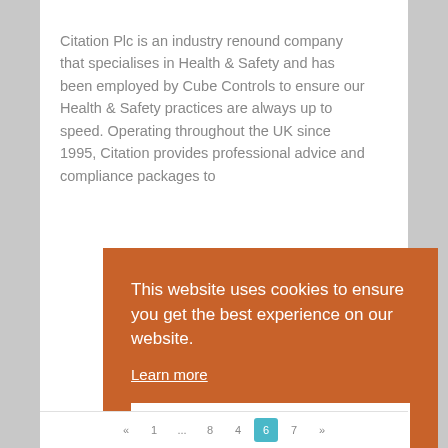Citation Plc is an industry renound company that specialises in Health & Safety and has been employed by Cube Controls to ensure our Health & Safety practices are always up to speed. Operating throughout the UK since 1995, Citation provides professional advice and compliance packages to
This website uses cookies to ensure you get the best experience on our website.
Learn more
Okay, thank you.